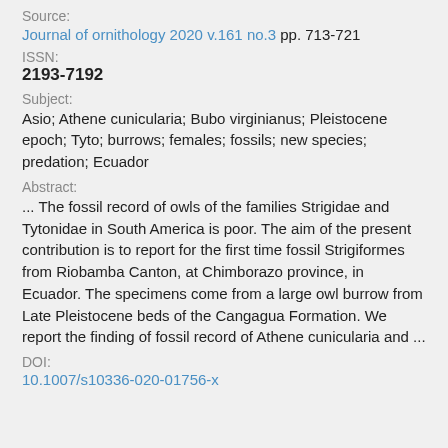Source:
Journal of ornithology 2020 v.161 no.3 pp. 713-721
ISSN:
2193-7192
Subject:
Asio; Athene cunicularia; Bubo virginianus; Pleistocene epoch; Tyto; burrows; females; fossils; new species; predation; Ecuador
Abstract:
... The fossil record of owls of the families Strigidae and Tytonidae in South America is poor. The aim of the present contribution is to report for the first time fossil Strigiformes from Riobamba Canton, at Chimborazo province, in Ecuador. The specimens come from a large owl burrow from Late Pleistocene beds of the Cangagua Formation. We report the finding of fossil record of Athene cunicularia and ...
DOI:
10.1007/s10336-020-01756-x